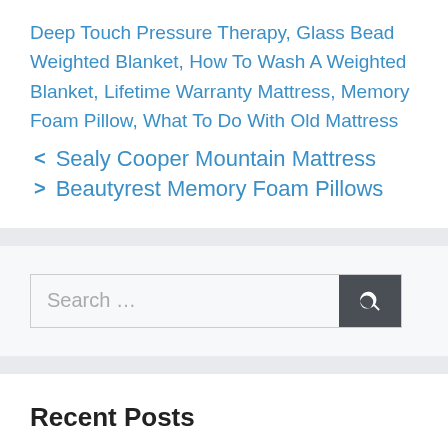Deep Touch Pressure Therapy, Glass Bead Weighted Blanket, How To Wash A Weighted Blanket, Lifetime Warranty Mattress, Memory Foam Pillow, What To Do With Old Mattress
< Sealy Cooper Mountain Mattress
> Beautyrest Memory Foam Pillows
[Figure (other): Search box with text field saying 'Search ...' and a dark grey search button with magnifying glass icon]
Recent Posts